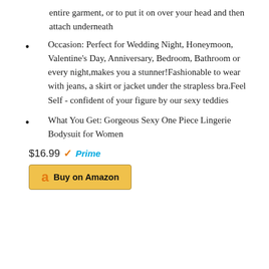entire garment, or to put it on over your head and then attach underneath
Occasion: Perfect for Wedding Night, Honeymoon, Valentine's Day, Anniversary, Bedroom, Bathroom or every night,makes you a stunner!Fashionable to wear with jeans, a skirt or jacket under the strapless bra.Feel Self - confident of your figure by our sexy teddies
What You Get: Gorgeous Sexy One Piece Lingerie Bodysuit for Women
$16.99 ✓Prime
Buy on Amazon